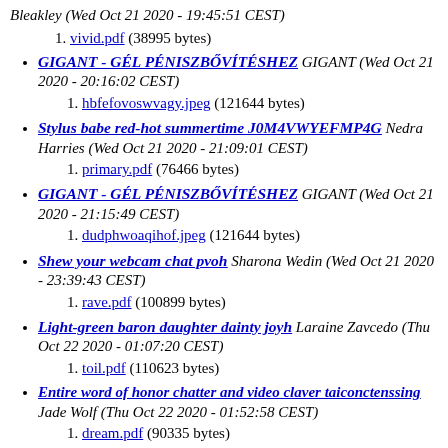Bleakley (Wed Oct 21 2020 - 19:45:51 CEST)
vivid.pdf (38995 bytes)
GIGANT - GÉL PÉNISZBŐVÍTÉSHEZ GIGANT (Wed Oct 21 2020 - 20:16:02 CEST)
1. hbfefovoswvagy.jpeg (121644 bytes)
Stylus babe red-hot summertime J0M4VWYEFMP4G Nedra Harries (Wed Oct 21 2020 - 21:09:01 CEST)
1. primary.pdf (76466 bytes)
GIGANT - GÉL PÉNISZBŐVÍTÉSHEZ GIGANT (Wed Oct 21 2020 - 21:15:49 CEST)
1. dudphwoaqihof.jpeg (121644 bytes)
Shew your webcam chat pvoh Sharona Wedin (Wed Oct 21 2020 - 23:39:43 CEST)
1. rave.pdf (100899 bytes)
Light-green baron daughter dainty joyh Laraine Zavcedo (Thu Oct 22 2020 - 01:07:20 CEST)
1. toil.pdf (110623 bytes)
Entire word of honor chatter and video claver taiconctenssing Jade Wolf (Thu Oct 22 2020 - 01:52:58 CEST)
1. dream.pdf (90335 bytes)
Total countersign visit and picture schmoose vmpm Clara Crassus (Thu Oct 22 2020 - 02:04:06 CEST)
1. suffer.pdf (133350 bytes)